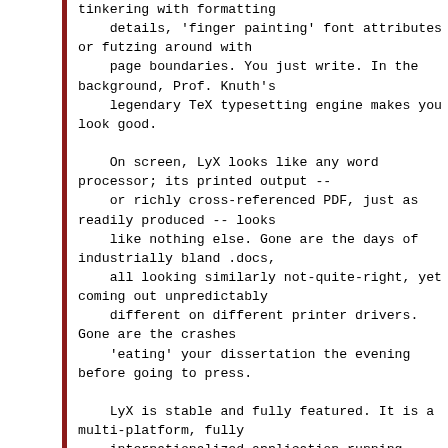tinkering with formatting
    details, 'finger painting' font attributes or futzing around with
    page boundaries. You just write. In the background, Prof. Knuth's
    legendary TeX typesetting engine makes you look good.

    On screen, LyX looks like any word processor; its printed output --
    or richly cross-referenced PDF, just as readily produced -- looks
    like nothing else. Gone are the days of industrially bland .docs,
    all looking similarly not-quite-right, yet coming out unpredictably
    different on different printer drivers. Gone are the crashes
    'eating' your dissertation the evening before going to press.

    LyX is stable and fully featured. It is a multi-platform, fully
    internationalized application running